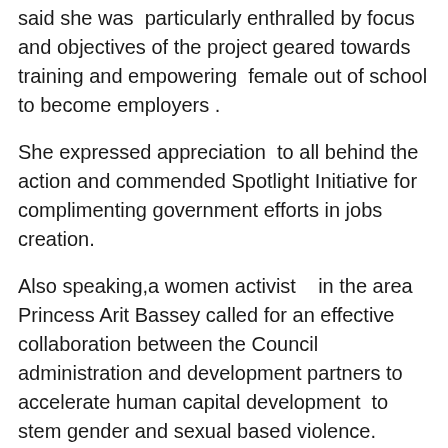said she was  particularly enthralled by focus and objectives of the project geared towards training and empowering  female out of school to become employers .
She expressed appreciation  to all behind the action and commended Spotlight Initiative for complimenting government efforts in jobs creation.
Also speaking,a women activist   in the area Princess Arit Bassey called for an effective collaboration between the Council administration and development partners to accelerate human capital development  to stem gender and sexual based violence.
In her opening speech,the human resource manager Girls' Power Initiative (GPI) Mrs Margaret Udoh  who spoke on behalf of the implementing partners disclosed that the spotlight Initiative project was initiated by the EU/UN and implemented through development partners